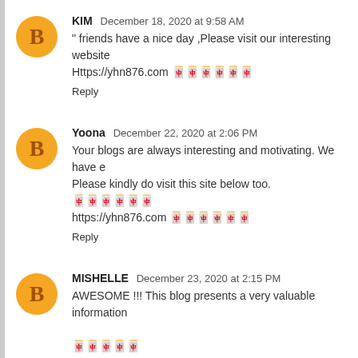KIM  December 18, 2020 at 9:58 AM
" friends have a nice day ,Please visit our interesting website
Https://yhn876.com 🀆🀆🀆🀆🀆🀆
Reply
Yoona  December 22, 2020 at 2:06 PM
Your blogs are always interesting and motivating. We have e
Please kindly do visit this site below too.
🀆🀆🀆🀆🀆🀆
https://yhn876.com 🀆🀆🀆🀆🀆🀆
Reply
MISHELLE  December 23, 2020 at 2:15 PM
AWESOME !!! This blog presents a very valuable information
🀆🀆🀆🀆🀆
https://pmx7.com/ 🀆🀆🀆🀆🀆